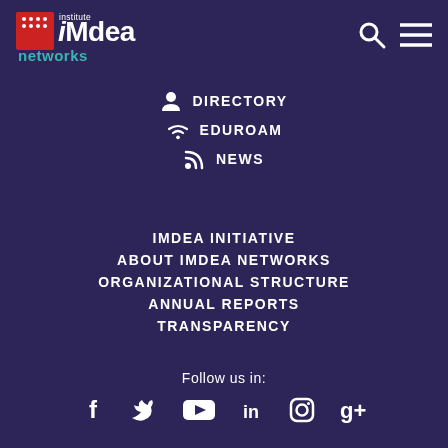[Figure (logo): IMDEA Networks Institute logo - red square with white dots grid and iMdea text, 'networks' below in teal]
DIRECTORY
EDUROAM
NEWS
IMDEA INITIATIVE
ABOUT IMDEA NETWORKS
ORGANIZATIONAL STRUCTURE
ANNUAL REPORTS
TRANSPARENCY
Follow us in:
[Figure (infographic): Social media icons: Facebook, Twitter, YouTube, LinkedIn, Instagram, Google+]